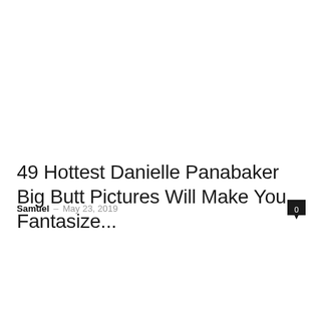49 Hottest Danielle Panabaker Big Butt Pictures Will Make You Fantasize...
Samuel – May 23, 2019
0